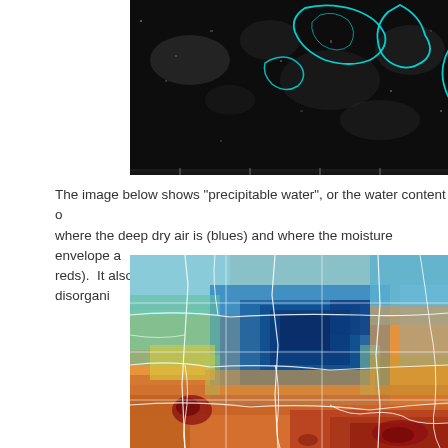[Figure (photo): Satellite image showing cloud formations with cyan contour outlines on a dark/black background. Landmasses or cloud clusters are highlighted with bright cyan boundary lines against a grayscale satellite view.]
The image below shows "precipitable water", or the water content o... where the deep dry air is (blues) and where the moisture envelope a... reds).  It also reiterates the point about how elongated and disorgani...
[Figure (map): Precipitable water map over the continental United States showing a color gradient from blue (low/dry) in the north-central region to red/orange (high/moist) in the south and southeast. White boundary lines show state/regional borders. Grid lines overlay the image.]